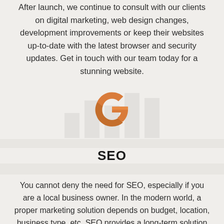After launch, we continue to consult with our clients on digital marketing, web design changes, development improvements or keep their websites up-to-date with the latest browser and security updates. Get in touch with our team today for a stunning website.
[Figure (logo): Google 'G' logo in orange color, displayed above a faint bar chart background]
SEO
You cannot deny the need for SEO, especially if you are a local business owner. In the modern world, a proper marketing solution depends on budget, location, business type, etc. SEO provides a long-term solution to your marketing needs.